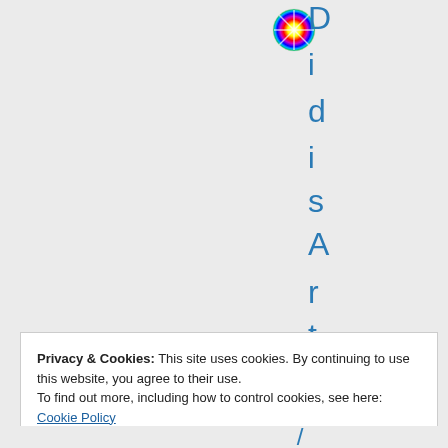[Figure (logo): Rainbow/colorful circular icon logo]
DidisArtDesig
Privacy & Cookies: This site uses cookies. By continuing to use this website, you agree to their use.
To find out more, including how to control cookies, see here: Cookie Policy
Close and accept